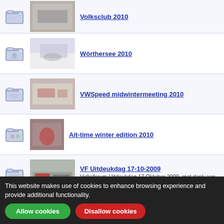Wörthersee 2010
VWSpeed midwintermeeting 2010
Ait-time winter edition 2010
VF Uitdeukdag 17-10-2009
Watercooled Mk1 Meeting 2009
VAGFest 2009
VW Speed Summer Show 2009
This website makes use of cookies to enhance browsing experience and provide additional functionality.